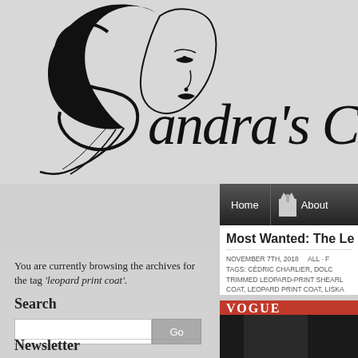[Figure (logo): Sandra's Closet fashion blog logo — line-art illustration of a woman's face with flowing hair forming the letter S, next to cursive text 'Sandra's Cl' (truncated by crop). Blog navigation bar with Home and About links visible.]
You are currently browsing the archives for the tag 'leopard print coat'.
Search
Most Wanted: The Le
NOVEMBER 7TH, 2018  ALL · F
TAGS: CÉDRIC CHARLIER, DOLC
TRIMMED LEOPARD-PRINT SHEARL
COAT, LEOPARD PRINT COAT, LISKA
[Figure (photo): Vogue magazine cover partially visible with red banner and large 'VOGUE' text in white. A figure in dark clothing is partially visible.]
Newsletter